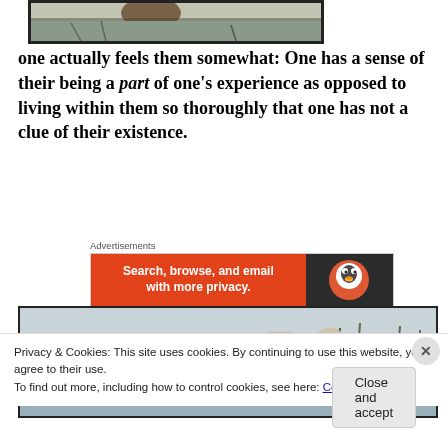[Figure (photo): Partial photo of a snowy outdoor scene with an animal, cropped at top of page]
one actually feels them somewhat: One has a sense of their being a part of one's experience as opposed to living within them so thoroughly that one has not a clue of their existence.
[Figure (screenshot): DuckDuckGo advertisement banner: 'Search, browse, and email with more privacy.' with DuckDuckGo logo on dark background, labeled 'Advertisements']
[Figure (photo): Photo of a bird (appears to be a duck or similar waterfowl) near water and reeds]
Privacy & Cookies: This site uses cookies. By continuing to use this website, you agree to their use.
To find out more, including how to control cookies, see here: Cookie Policy
Close and accept